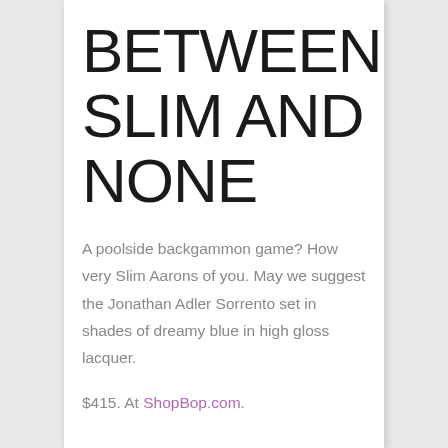BETWEEN SLIM AND NONE
A poolside backgammon game? How very Slim Aarons of you. May we suggest the Jonathan Adler Sorrento set in shades of dreamy blue in high gloss lacquer.
$415. At ShopBop.com.